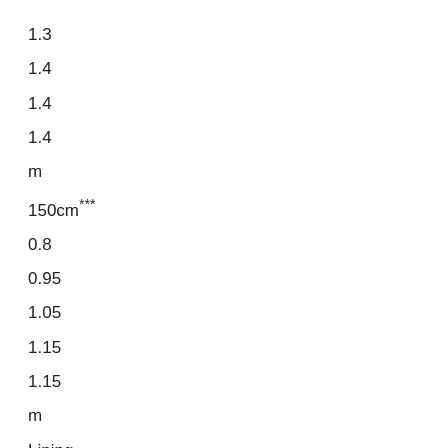1.3
1.4
1.4
1.4
m
150cm***
0.8
0.95
1.05
1.15
1.15
m
Lining
115cm**
0.7
0.7
0.8